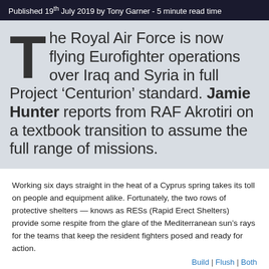Published 19th July 2019 by Tony Garner - 5 minute read time
The Royal Air Force is now flying Eurofighter operations over Iraq and Syria in full Project ‘Centurion’ standard. Jamie Hunter reports from RAF Akrotiri on a textbook transition to assume the full range of missions.
Working six days straight in the heat of a Cyprus spring takes its toll on people and equipment alike. Fortunately, the two rows of protective shelters — knows as RESs (Rapid Erect Shelters) provide some respite from the glare of the Mediterranean sun’s rays for the teams that keep the resident fighters posed and ready for action.